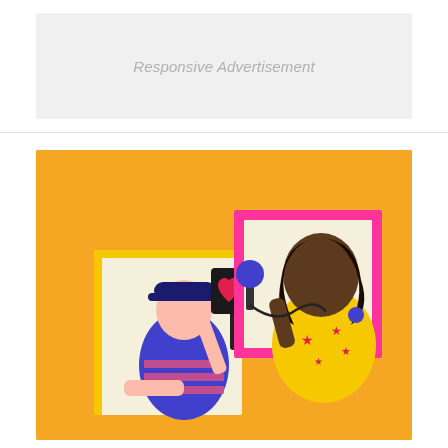[Figure (other): Responsive Advertisement placeholder box with light gray background]
[Figure (illustration): Colorful illustration on orange background showing two figures in windows: on the left, a person wearing a blue and pink striped shirt and cap holding a sign with a heart symbol, with a coffee cup below; on the right, a woman in a yellow floral shirt holding a microphone and singing, framed by a pink border.]